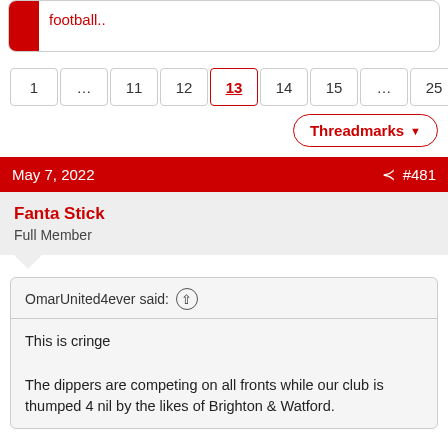football..
1 ... 11 12 13 14 15 ... 25 Next ▶
Threadmarks ▼
May 7, 2022   #481
Fanta Stick
Full Member
OmarUnited4ever said: ↑
This is cringe

The dippers are competing on all fronts while our club is thumped 4 nil by the likes of Brighton & Watford.